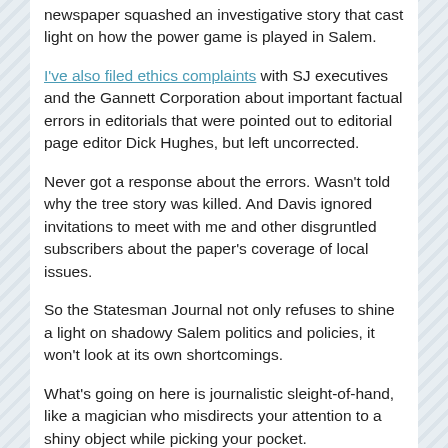newspaper squashed an investigative story that cast light on how the power game is played in Salem.
I've also filed ethics complaints with SJ executives and the Gannett Corporation about important factual errors in editorials that were pointed out to editorial page editor Dick Hughes, but left uncorrected.
Never got a response about the errors. Wasn't told why the tree story was killed. And Davis ignored invitations to meet with me and other disgruntled subscribers about the paper's coverage of local issues.
So the Statesman Journal not only refuses to shine a light on shadowy Salem politics and policies, it won't look at its own shortcomings.
What's going on here is journalistic sleight-of-hand, like a magician who misdirects your attention to a shiny object while picking your pocket.
The Statesman Journal has become overly filled with “shiny objects.” Kid’s page. Human interest pieces. Outdoor articles. Reader responses. Volunteer and nonprofit organization coverage.